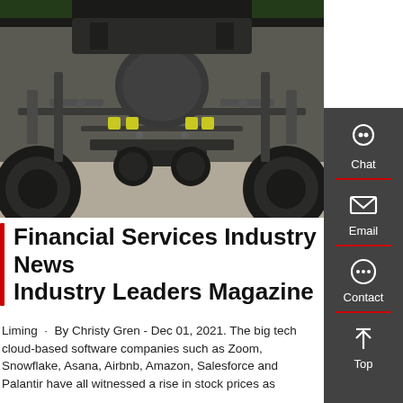[Figure (photo): Underside of a heavy truck/vehicle showing suspension, air bags, chassis frame, wheels and tires viewed from below, photographed in a garage or outdoor setting.]
Financial Services Industry News · Industry Leaders Magazine
Liming · By Christy Gren - Dec 01, 2021. The big tech cloud-based software companies such as Zoom, Snowflake, Asana, Airbnb, Amazon, Salesforce and Palantir have all witnessed a rise in stock prices as